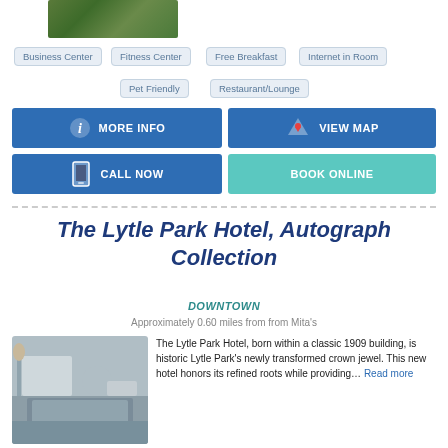[Figure (photo): Partial top image of hotel exterior with greenery]
Business Center
Fitness Center
Free Breakfast
Internet in Room
Pet Friendly
Restaurant/Lounge
MORE INFO
VIEW MAP
CALL NOW
BOOK ONLINE
The Lytle Park Hotel, Autograph Collection
DOWNTOWN
Approximately 0.60 miles from from Mita's
[Figure (photo): Hotel room interior with bed and grey/blue decor]
The Lytle Park Hotel, born within a classic 1909 building, is historic Lytle Park's newly transformed crown jewel. This new hotel honors its refined roots while providing… Read more